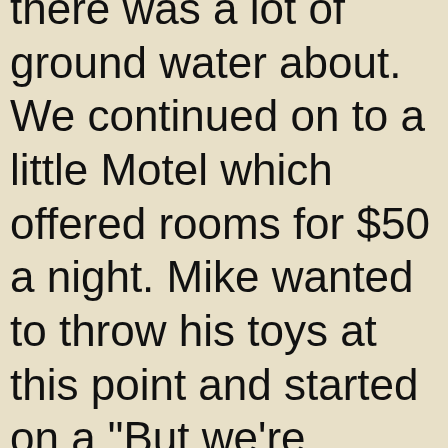there was a lot of ground water about. We continued on to a little Motel which offered rooms for $50 a night. Mike wanted to throw his toys at this point and started on a "But we're supposed to camping and this is all starting to